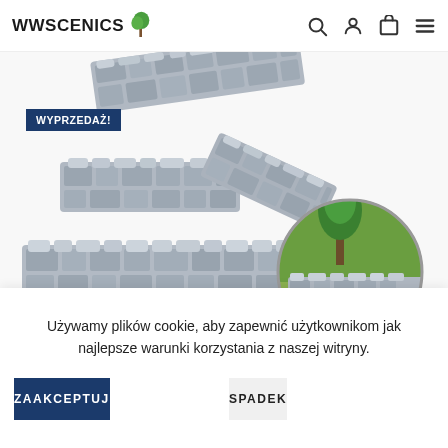WWSCENICS
[Figure (photo): Product photo of grey stone wall miniature terrain pieces for tabletop wargaming, including straight sections, corner sections, and a circular inset showing the wall in a grassy diorama setting. A 'WYPRZEDAŻ!' (SALE!) badge is overlaid on the top-left of the image.]
Używamy plików cookie, aby zapewnić użytkownikom jak najlepsze warunki korzystania z naszej witryny.
ZAAKCEPTUJ
SPADEK